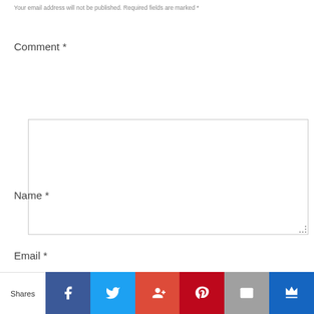Your email address will not be published. Required fields are marked *
Comment *
[Figure (screenshot): Empty comment textarea input box with border and resize handle]
Name *
[Figure (screenshot): Empty name text input box with border]
Email *
[Figure (screenshot): Social sharing bar with Facebook, Twitter, Google+, Pinterest, Email, and crown icon buttons, with Shares label on left]